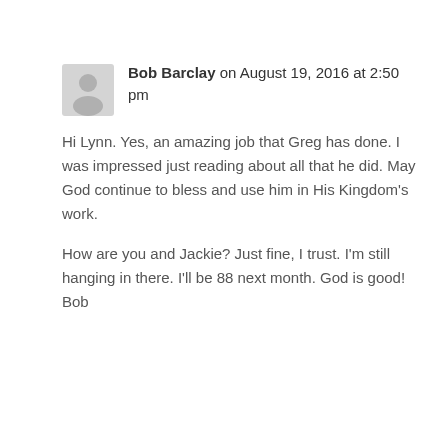Bob Barclay on August 19, 2016 at 2:50 pm
Hi Lynn. Yes, an amazing job that Greg has done. I was impressed just reading about all that he did. May God continue to bless and use him in His Kingdom's work.
How are you and Jackie? Just fine, I trust. I'm still hanging in there. I'll be 88 next month. God is good! Bob